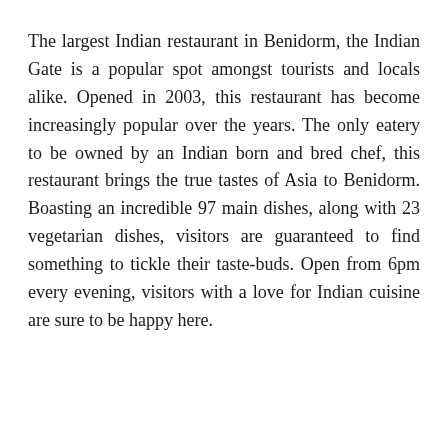The largest Indian restaurant in Benidorm, the Indian Gate is a popular spot amongst tourists and locals alike. Opened in 2003, this restaurant has become increasingly popular over the years. The only eatery to be owned by an Indian born and bred chef, this restaurant brings the true tastes of Asia to Benidorm. Boasting an incredible 97 main dishes, along with 23 vegetarian dishes, visitors are guaranteed to find something to tickle their taste-buds. Open from 6pm every evening, visitors with a love for Indian cuisine are sure to be happy here.